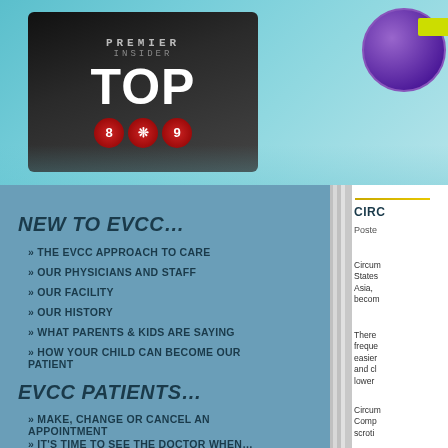[Figure (screenshot): Header banner with TOP award badge on dark background and globe graphic on teal/blue gradient background]
NEW TO EVCC...
» THE EVCC APPROACH TO CARE
» OUR PHYSICIANS AND STAFF
» OUR FACILITY
» OUR HISTORY
» WHAT PARENTS & KIDS ARE SAYING
» HOW YOUR CHILD CAN BECOME OUR PATIENT
EVCC PATIENTS...
» MAKE, CHANGE OR CANCEL AN APPOINTMENT
» IT'S TIME TO SEE THE DOCTOR WHEN...
CIRC
Posted
Circum States Asia, becom
There freque easier and cl lower
Circum Comp scroti